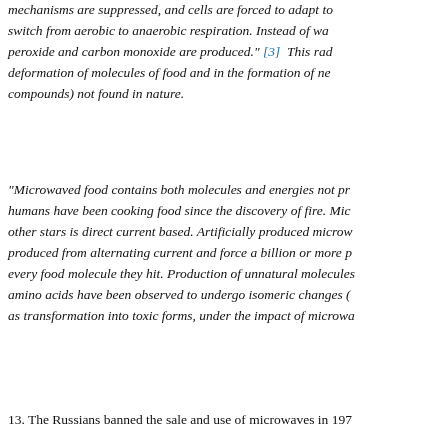mechanisms are suppressed, and cells are forced to adapt to switch from aerobic to anaerobic respiration. Instead of water, peroxide and carbon monoxide are produced." [3]  This radical deformation of molecules of food and in the formation of new compounds) not found in nature.
"Microwaved food contains both molecules and energies not present when humans have been cooking food since the discovery of fire. Microwave from other stars is direct current based. Artificially produced microwaves are produced from alternating current and force a billion or more polarity changes every food molecule they hit. Production of unnatural molecules is inevitable: amino acids have been observed to undergo isomeric changes (changes as transformation into toxic forms, under the impact of microwaves."
13. The Russians banned the sale and use of microwaves in 197